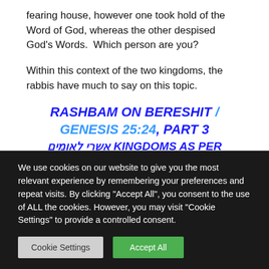fearing house, however one took hold of the Word of God, whereas the other despised God's Words.  Which person are you?
Within this context of the two kingdoms, the rabbis have much to say on this topic.
RASHBAM ON BERESHIT / GENESIS 25:24, PART 3
אשרי לאומים KINGDOMS AS PER
We use cookies on our website to give you the most relevant experience by remembering your preferences and repeat visits. By clicking "Accept All", you consent to the use of ALL the cookies. However, you may visit "Cookie Settings" to provide a controlled consent.